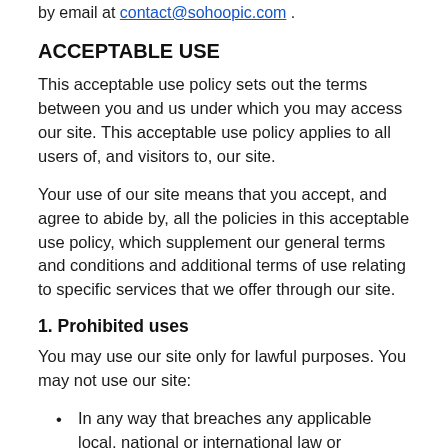by email at contact@sohoopic.com .
ACCEPTABLE USE
This acceptable use policy sets out the terms between you and us under which you may access our site. This acceptable use policy applies to all users of, and visitors to, our site.
Your use of our site means that you accept, and agree to abide by, all the policies in this acceptable use policy, which supplement our general terms and conditions and additional terms of use relating to specific services that we offer through our site.
1. Prohibited uses
You may use our site only for lawful purposes. You may not use our site:
In any way that breaches any applicable local, national or international law or regulation.